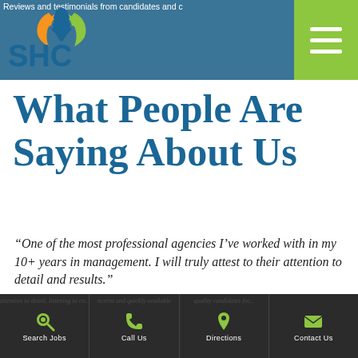Reviews and testimonials from candidates and clients
[Figure (logo): SHC staffing agency logo with orange and green figure above blue SHC letters]
What People Are Saying About Us
“One of the most professional agencies I’ve worked with in my 10+ years in management. I will truly attest to their attention to detail and results.”
– Mr. J, Manager, major construction and engineering company in Elkridge, MD.
Search Jobs | Call Us | Directions | Contact Us